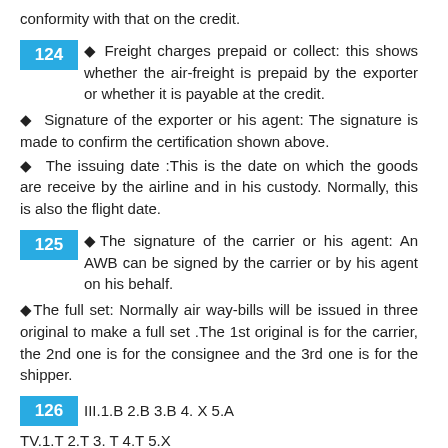conformity with that on the credit.
124 ◆ Freight charges prepaid or collect: this shows whether the air-freight is prepaid by the exporter or whether it is payable at the credit.
◆ Signature of the exporter or his agent: The signature is made to confirm the certification shown above.
◆ The issuing date :This is the date on which the goods are receive by the airline and in his custody. Normally, this is also the flight date.
125 ◆The signature of the carrier or his agent: An AWB can be signed by the carrier or by his agent on his behalf.
◆The full set: Normally air way-bills will be issued in three original to make a full set .The 1st original is for the carrier, the 2nd one is for the consignee and the 3rd one is for the shipper.
126 III.1.B 2.B 3.B 4. X 5.A TV.1.T 2.T 3. T 4.T 5.X
127 Click to edit subtitle style